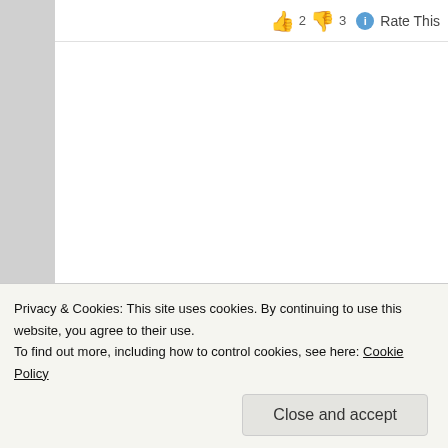[Figure (other): Rating icons showing thumbs up 2, thumbs down 3, info icon, and 'Rate This' text]
[Figure (photo): Avatar image of a blue hexagonal cartoon character with a neutral expression, on a brownish-red gradient background]
Rididill
June 14, 2011 at 3:13 am
‘That’s exactly why anti-feminists who attem feminists as boner-killers like to over-simplif examination of the challenges the word pres
Um, not really. I don’t think it’s the antifemin phrase does it all by itself. The phrase ‘sex-
Privacy & Cookies: This site uses cookies. By continuing to use this website, you agree to their use.
To find out more, including how to control cookies, see here: Cookie Policy
Close and accept